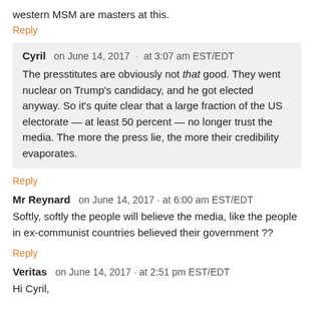western MSM are masters at this.
Reply
Cyril  on June 14, 2017  ·  at 3:07 am EST/EDT
The presstitutes are obviously not that good. They went nuclear on Trump's candidacy, and he got elected anyway. So it's quite clear that a large fraction of the US electorate — at least 50 percent — no longer trust the media. The more the press lie, the more their credibility evaporates.
Reply
Mr Reynard  on June 14, 2017  ·  at 6:00 am EST/EDT
Softly, softly the people will believe the media, like the people in ex-communist countries believed their government ??
Reply
Veritas  on June 14, 2017  ·  at 2:51 pm EST/EDT
Hi Cyril,